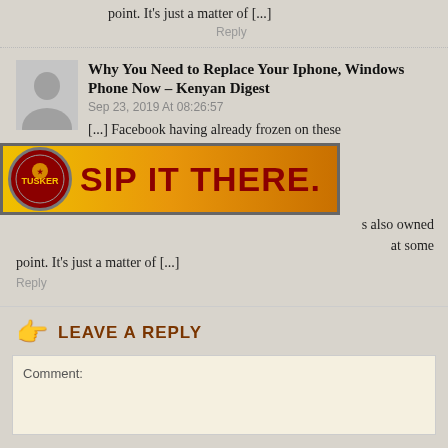point. It’s just a matter of [...]
Reply
Why You Need to Replace Your Iphone, Windows Phone Now – Kenyan Digest
Sep 23, 2019 At 08:26:57
[...] Facebook having already frozen on these
[Figure (advertisement): Tusker beer advertisement banner with golden gradient background and bold dark red text reading 'SIP IT THERE.' with Tusker logo circle on left]
s also owned at some point. It’s just a matter of [...]
Reply
LEAVE A REPLY
Comment: